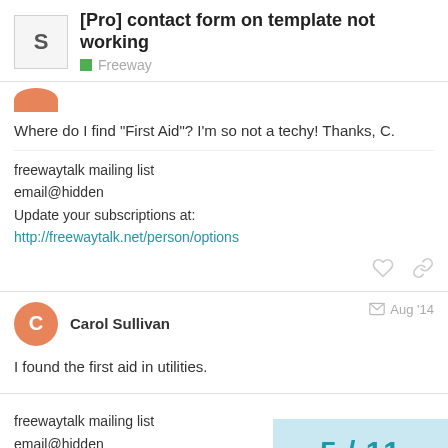[Pro] contact form on template not working — Freeway
Where do I find “First Aid”? I’m so not a techy! Thanks, C.
freewaytalk mailing list
email@hidden
Update your subscriptions at:
http://freewaytalk.net/person/options
Carol Sullivan — Aug '14
I found the first aid in utilities.
freewaytalk mailing list
email@hidden
Update your subscriptions at:
5 / 11